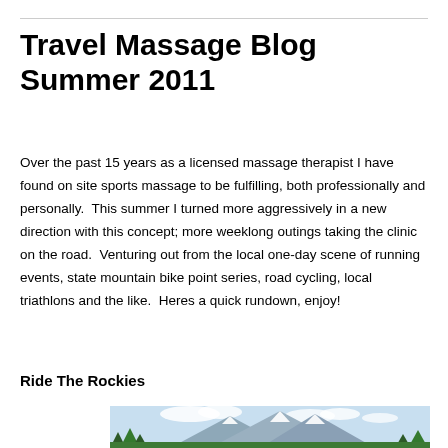Travel Massage Blog Summer 2011
Over the past 15 years as a licensed massage therapist I have found on site sports massage to be fulfilling, both professionally and personally.  This summer I turned more aggressively in a new direction with this concept; more weeklong outings taking the clinic on the road.  Venturing out from the local one-day scene of running events, state mountain bike point series, road cycling, local triathlons and the like.  Heres a quick rundown, enjoy!
Ride The Rockies
[Figure (photo): Mountain landscape photo with snow-capped peaks, clouds, and green trees in foreground]